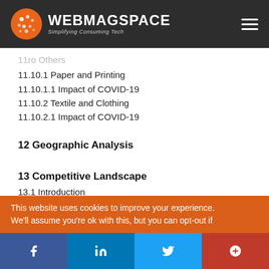WEBMAGSPACE – Simplifying Consuming Tech
11.10 Others (partially visible)
11.10.1 Paper and Printing
11.10.1.1 Impact of COVID-19
11.10.2 Textile and Clothing
11.10.2.1 Impact of COVID-19
12 Geographic Analysis
13 Competitive Landscape
13.1 Introduction
13.2 Key Player Strategies/Right to Win (partially visible)
This website uses cookies to improve your experience. We'll assume you're ok with this, but you can opt-out if
Social share buttons: Facebook, LinkedIn, Twitter, Google+